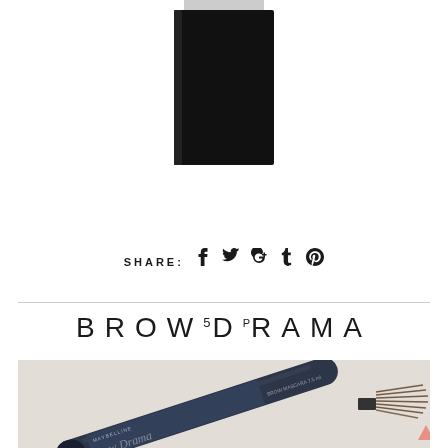[Figure (photo): A dark/black tall rectangular product image (mascara or brow product) positioned at top center of page, partially cropped]
SHARE:
[Figure (infographic): Social share icons: Facebook, Twitter, Google+, Tumblr, Pinterest]
BROWDRAMA
[Figure (photo): A Maybelline Brow Drama mascara tube lying diagonally on a light surface with the brush visible at the right end]